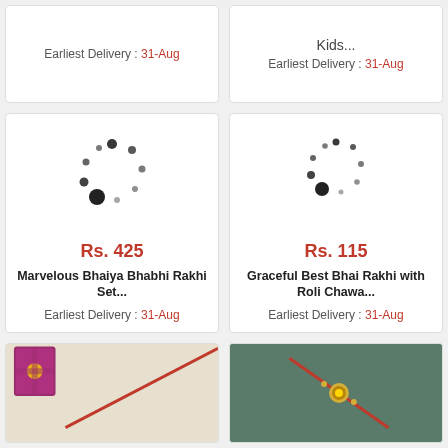Earliest Delivery : 31-Aug
Kids...
Earliest Delivery : 31-Aug
[Figure (other): Loading spinner animation placeholder for product image]
Rs. 425
Marvelous Bhaiya Bhabhi Rakhi Set...
Earliest Delivery : 31-Aug
[Figure (other): Loading spinner animation placeholder for product image]
Rs. 115
Graceful Best Bhai Rakhi with Roli Chawa...
Earliest Delivery : 31-Aug
[Figure (photo): Rakhi product photo with red thread and small gift box on beige background]
[Figure (photo): Rakhi bracelet on teal/dark green background]